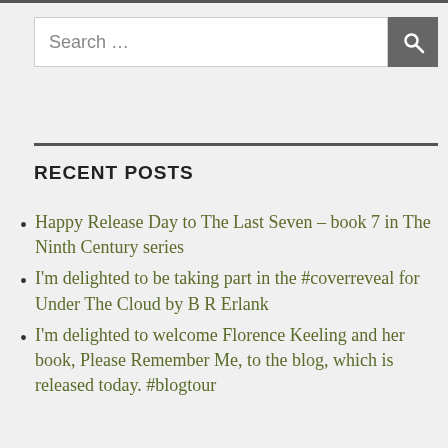[Figure (other): Search bar with text 'Search ...' and a dark search button with magnifying glass icon]
RECENT POSTS
Happy Release Day to The Last Seven – book 7 in The Ninth Century series
I'm delighted to be taking part in the #coverreveal for Under The Cloud by B R Erlank
I'm delighted to welcome Florence Keeling and her book, Please Remember Me, to the blog, which is released today. #blogtour